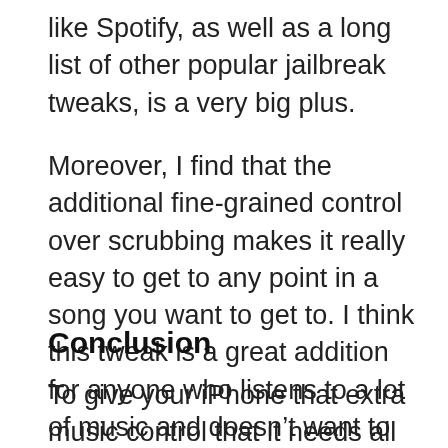like Spotify, as well as a long list of other popular jailbreak tweaks, is a very big plus.
Moreover, I find that the additional fine-grained control over scrubbing makes it really easy to get to any point in a song you want to get to. I think this tweak is a great addition for anyone who listens to a lot of music and doesn't want to have to launch the now-playing app every time they want to go backward or forward in the song.
Conclusion
To give your iPhone that extra music control that it needs all throughout iOS. Seeker is a great addition to any jailbroken device that's used often for music playback. With it, you'll never...